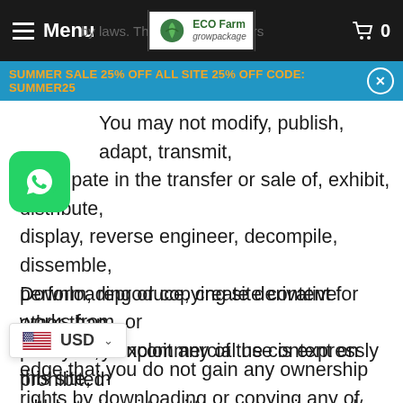Menu | ECO Farm growpackage | Cart 0
SUMMER SALE 25% OFF ALL SITE 25% OFF CODE: SUMMER25
You may not modify, publish, adapt, transmit, participate in the transfer or sale of, exhibit, distribute, display, reverse engineer, decompile, dissemble, perform, reproduce, create derivative works from, or in any way exploit any of the content on this site, in whole or in part.
Downloading or copying site content for other than personal, noncommercial use is expressly prohibited without our prior written permission and/or the permission of any other copyright holder(s).
...edge that you do not gain any ownership rights by downloading or copying any of the product